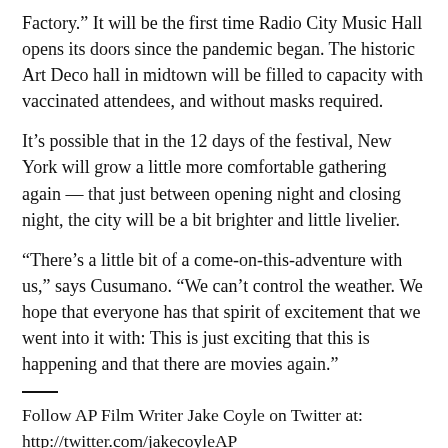Factory.” It will be the first time Radio City Music Hall opens its doors since the pandemic began. The historic Art Deco hall in midtown will be filled to capacity with vaccinated attendees, and without masks required.
It’s possible that in the 12 days of the festival, New York will grow a little more comfortable gathering again — that just between opening night and closing night, the city will be a bit brighter and little livelier.
“There’s a little bit of a come-on-this-adventure with us,” says Cusumano. “We can’t control the weather. We hope that everyone has that spirit of excitement that we went into it with: This is just exciting that this is happening and that there are movies again.”
Follow AP Film Writer Jake Coyle on Twitter at: http://twitter.com/jakecoyleAP